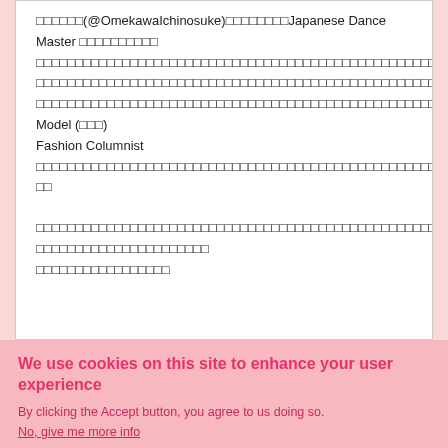□□□□□□(@OmekawaIchinosuke)□□□□□□□□Japanese Dance Master □□□□□□□□□□□□□□□□□□□□□□□□□□□□□□□□□□□□□□□□□□□□□□□□□□□□□□□□□□□□□□□□□□□□□□□□□□□□□□□□□□□□□ Model (□□□) Fashion Columnist □□□□□□□□□□□□□□□□□□□□□□□□□□□□□□□□□□□□□□□□□□□□□□□□□□□□□□□□□□□□□□□
We use cookies on this site to enhance your user experience
By clicking the Accept button, you agree to us doing so.
No, give me more info
OK, I agree
No, thanks